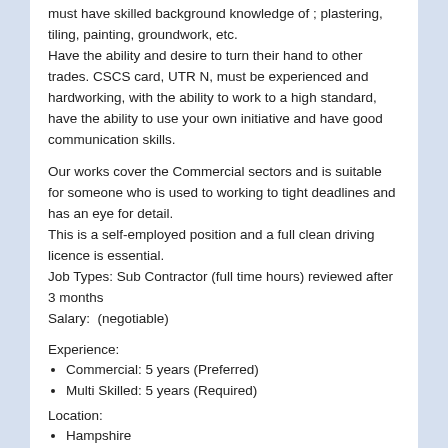must have skilled background knowledge of ; plastering, tiling, painting, groundwork, etc.
Have the ability and desire to turn their hand to other trades. CSCS card, UTR N, must be experienced and hardworking, with the ability to work to a high standard, have the ability to use your own initiative and have good communication skills.
Our works cover the Commercial sectors and is suitable for someone who is used to working to tight deadlines and has an eye for detail.
This is a self-employed position and a full clean driving licence is essential.
Job Types: Sub Contractor (full time hours) reviewed after 3 months
Salary:  (negotiable)
Experience:
Commercial: 5 years (Preferred)
Multi Skilled: 5 years (Required)
Location:
Hampshire